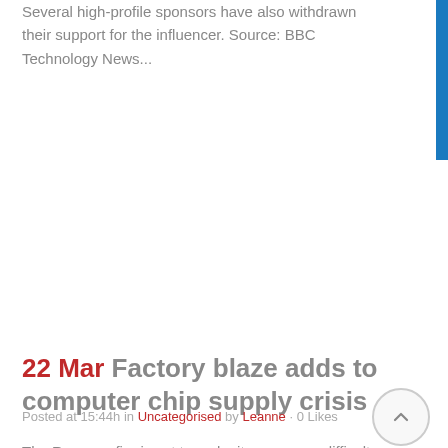Several high-profile sponsors have also withdrawn their support for the influencer. Source: BBC Technology News...
Read More
22 Mar Factory blaze adds to computer chip supply crisis
Posted at 15:44h in Uncategorised by Leanne · 0 Likes
The Renesas fire is set to make it even more difficult for car-makers to buy the